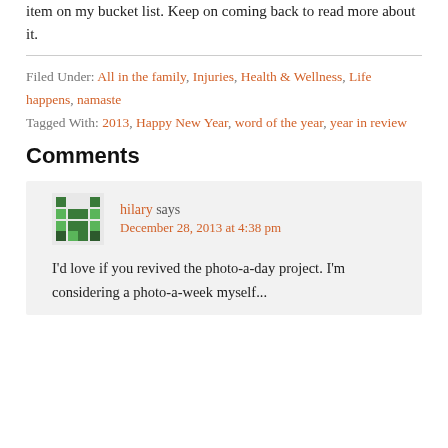item on my bucket list. Keep on coming back to read more about it.
Filed Under: All in the family, Injuries, Health & Wellness, Life happens, namaste
Tagged With: 2013, Happy New Year, word of the year, year in review
Comments
hilary says December 28, 2013 at 4:38 pm
I'd love if you revived the photo-a-day project. I'm considering a photo-a-week myself...